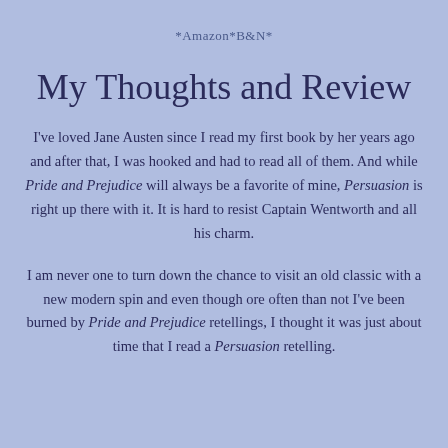*Amazon*B&N*
My Thoughts and Review
I've loved Jane Austen since I read my first book by her years ago and after that, I was hooked and had to read all of them. And while Pride and Prejudice will always be a favorite of mine, Persuasion is right up there with it. It is hard to resist Captain Wentworth and all his charm.
I am never one to turn down the chance to visit an old classic with a new modern spin and even though ore often than not I've been burned by Pride and Prejudice retellings, I thought it was just about time that I read a Persuasion retelling.